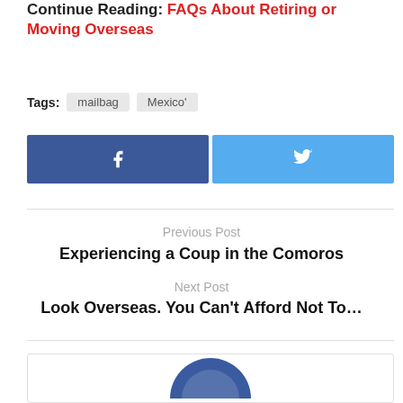Continue Reading: FAQs About Retiring or Moving Overseas
Tags: mailbag  Mexico'
[Figure (other): Facebook and Twitter social share buttons]
Previous Post
Experiencing a Coup in the Comoros
Next Post
Look Overseas. You Can't Afford Not To…
[Figure (photo): Author avatar photo partially visible at bottom of page]